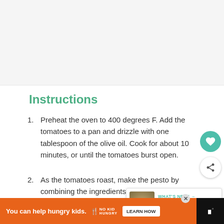[Figure (photo): Top image area showing a recipe photo (partially visible, light gray background)]
Instructions
Preheat the oven to 400 degrees F. Add the tomatoes to a pan and drizzle with one tablespoon of the olive oil. Cook for about 10 minutes, or until the tomatoes burst open.
As the tomatoes roast, make the pesto by combining the ingredients in a food processor and blend until almost smooth.
(partially visible — text cut off)